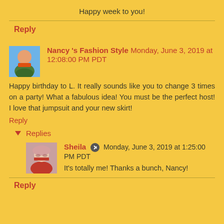Happy week to you!
Reply
Nancy 's Fashion Style Monday, June 3, 2019 at 12:08:00 PM PDT
Happy birthday to L. It really sounds like you to change 3 times on a party! What a fabulous idea! You must be the perfect host! I love that jumpsuit and your new skirt!
Reply
Replies
Sheila Monday, June 3, 2019 at 1:25:00 PM PDT
It's totally me! Thanks a bunch, Nancy!
Reply